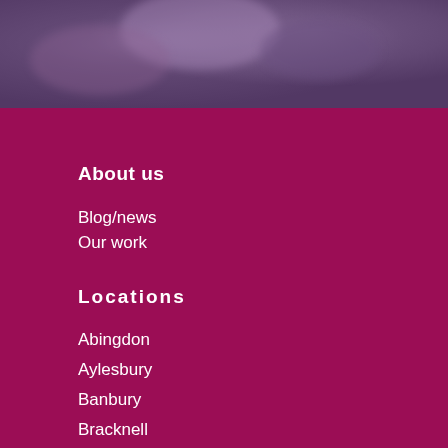[Figure (photo): Blurred purple/mauve toned background photo at top of page]
About us
Blog/news
Our work
Locations
Abingdon
Aylesbury
Banbury
Bracknell
High Wycombe
London
Maidenhead